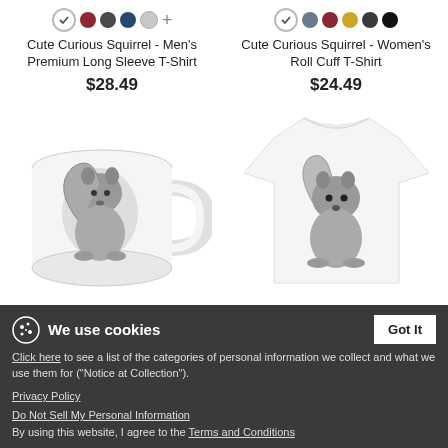[Figure (screenshot): Color swatches for Men's Premium Long Sleeve T-Shirt: checkmark circle, dark red, dark gray, navy blue, light gray, plus sign]
[Figure (screenshot): Color swatches for Women's Roll Cuff T-Shirt: checkmark circle, slate blue, dark red, gold/yellow, dark gray, black]
Cute Curious Squirrel - Men's Premium Long Sleeve T-Shirt
Cute Curious Squirrel - Women's Roll Cuff T-Shirt
$28.49
$24.49
[Figure (photo): White ceramic mug with a black-and-white illustration of a cute curious squirrel]
[Figure (photo): White toddler t-shirt with a black-and-white illustration of a cute curious squirrel]
Cute Curious Squirrel - ...a Mug
Cute Curious Squirrel - Toddler Premium T-Shirt
$15.99
$21.49
We use cookies
Click here to see a list of the categories of personal information we collect and what we use them for ("Notice at Collection").
Privacy Policy
Do Not Sell My Personal Information
By using this website, I agree to the Terms and Conditions